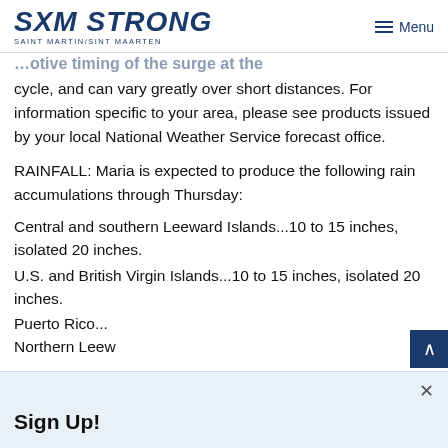SXM STRONG — SAINT MARTIN/SINT MAARTEN | Menu
cycle, and can vary greatly over short distances. For information specific to your area, please see products issued by your local National Weather Service forecast office.
RAINFALL: Maria is expected to produce the following rain accumulations through Thursday:
Central and southern Leeward Islands...10 to 15 inches, isolated 20 inches.
U.S. and British Virgin Islands...10 to 15 inches, isolated 20 inches.
Puerto Rico...
Northern Leew...
Sign Up!